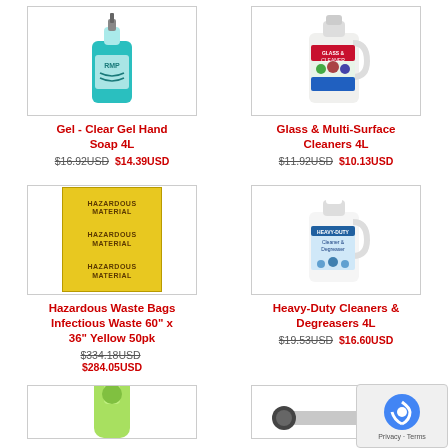[Figure (photo): Teal gel hand soap bottle (4L jug with RMP label)]
Gel - Clear Gel Hand Soap 4L
$16.92USD $14.39USD
[Figure (photo): Glass & Multi-Surface Cleaner 4L jug with colorful label]
Glass & Multi-Surface Cleaners 4L
$11.92USD $10.13USD
[Figure (photo): Yellow hazardous material bag labeled HAZARDOUS MATERIAL three times]
Hazardous Waste Bags Infectious Waste 60" x 36" Yellow 50pk
$334.18USD $284.05USD
[Figure (photo): Heavy-duty cleaner & degreaser 4L white jug with blue label]
Heavy-Duty Cleaners & Degreasers 4L
$19.53USD $16.60USD
[Figure (photo): Partial view of green soap/cleaner bottle at bottom]
[Figure (photo): Partial view of a squeegee/brush tool at bottom right]